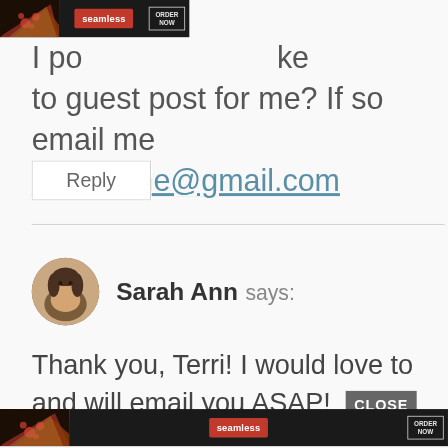[Figure (screenshot): Seamless food delivery advertisement banner at top showing pizza image, Seamless logo in red, and ORDER NOW button]
I po ke to guest post for me? If so email me terrigrothe@gmail.com
Reply
Sarah Ann says:
Thank you, Terri! I would love to and will email you ASAP!
[Figure (screenshot): Seamless food delivery advertisement banner at bottom showing pizza image, Seamless logo in red, and ORDER NOW button with CLOSE button overlay]